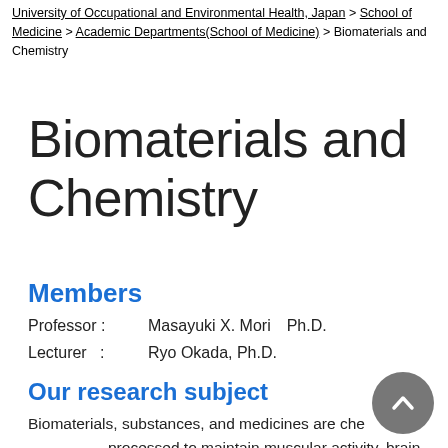University of Occupational and Environmental Health, Japan > School of Medicine > Academic Departments(School of Medicine) > Biomaterials and Chemistry
Biomaterials and Chemistry
Members
Professor :    Masayuki X. Mori　Ph.D.
Lecturer   :    Ryo Okada, Ph.D.
Our research subject
Biomaterials, substances, and medicines are che... processed to maintain muscular activity, brain computations, and whole body homeostasis.  Our